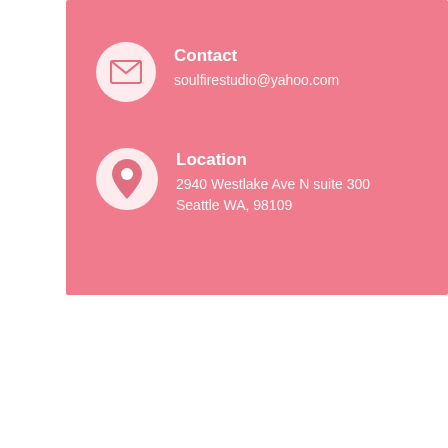Contact
soulfirestudio@yahoo.com
Location
2940 Westlake Ave N suite 300
Seattle WA, 98109